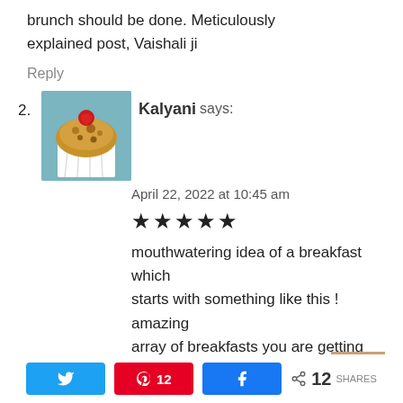brunch should be done. Meticulously explained post, Vaishali ji
Reply
2. Kalyani says:
April 22, 2022 at 10:45 am
★★★★★
mouthwatering idea of a breakfast which starts with something like this ! amazing array of breakfasts you are getting us, Vaishali
Reply
[Figure (other): Share bar with Twitter, Pinterest (12), Facebook share buttons and share count 12 SHARES]